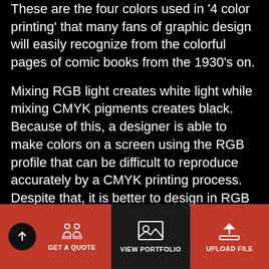These are the four colors used in '4 color printing' that many fans of graphic design will easily recognize from the colorful pages of comic books from the 1930's on.
Mixing RGB light creates white light while mixing CMYK pigments creates black. Because of this, a designer is able to make colors on a screen using the RGB profile that can be difficult to reproduce accurately by a CMYK printing process. Despite that, it is better to design in RGB because you can create the best possible version of your design. This is why it's best to design from the start using the CMYK color profile. However, if you bring us an RGB file, our engineers will take your digital files through printer-specific programs to convert them into CMYK
GET A QUOTE | VIEW PORTFOLIO | UPLOAD FILE